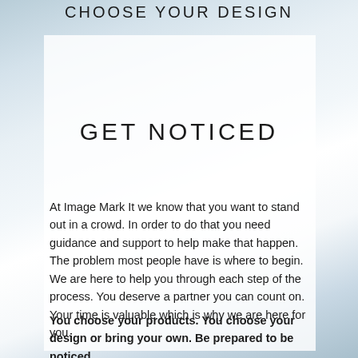CHOOSE YOUR DESIGN
GET NOTICED
At Image Mark It we know that you want to stand out in a crowd. In order to do that you need guidance and support to help make that happen. The problem most people have is where to begin. We are here to help you through each step of the process. You deserve a partner you can count on. Your time is valuable which is why we are here for you.
You choose your products. You choose your design or bring your own. Be prepared to be noticed.